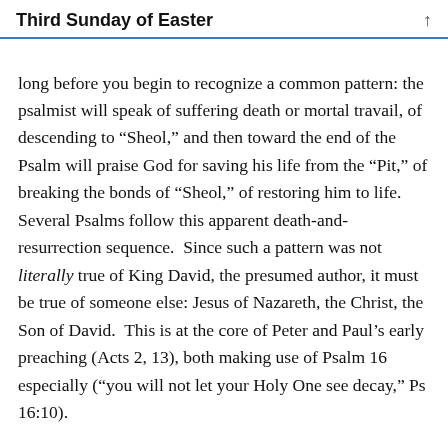Third Sunday of Easter
long before you begin to recognize a common pattern: the psalmist will speak of suffering death or mortal travail, of descending to “Sheol,” and then toward the end of the Psalm will praise God for saving his life from the “Pit,” of breaking the bonds of “Sheol,” of restoring him to life.  Several Psalms follow this apparent death-and-resurrection sequence.  Since such a pattern was not literally true of King David, the presumed author, it must be true of someone else: Jesus of Nazareth, the Christ, the Son of David.  This is at the core of Peter and Paul’s early preaching (Acts 2, 13), both making use of Psalm 16 especially (“you will not let your Holy One see decay,” Ps 16:10).